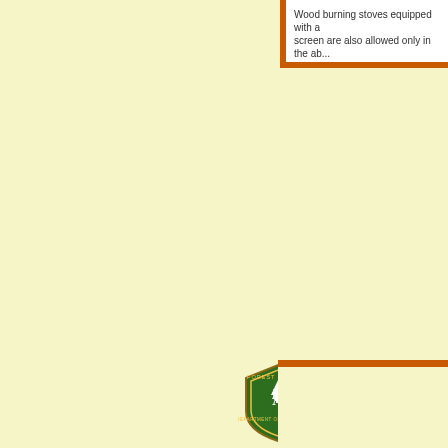Wood burning stoves equipped with a screen are also allowed only in the ab...
Use of Chainsaws or other... unless under contract/pen... Generators will only be all... has been cleared, at least...
Traveling Off Developed F... and from a campsite locat... roads not cleared of stand... berms, rocks, or logs is pro...
No Smoking, except within... in an area at least three fe...
With tinder dry forest fuels and hig... caused forest fires. We ask that you b... public-use restrictions, co...
http://bmidc.ore...
Call 911...
[Figure (logo): USDA Forest Service shield logo with UAS text and pine tree]
NO...